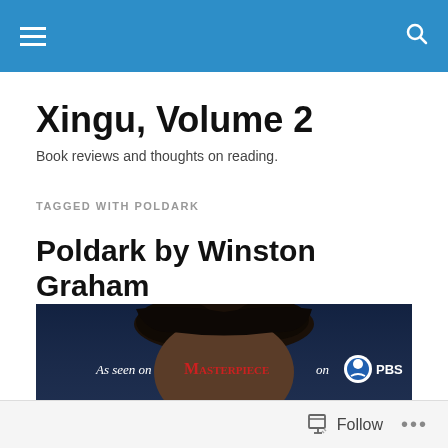Navigation bar with hamburger menu and search icon
Xingu, Volume 2
Book reviews and thoughts on reading.
TAGGED WITH POLDARK
Poldark by Winston Graham
[Figure (photo): Book cover image showing a dark figure with text 'As seen on MASTERPIECE on PBS']
Follow  ...